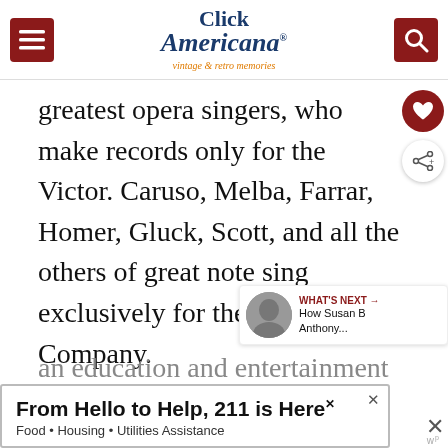Click Americana — vintage & retro memories
greatest opera singers, who make records only for the Victor. Caruso, Melba, Farrar, Homer, Gluck, Scott, and all the others of great note sing exclusively for the Victor Company.
The opportunity of hearing the reproduction of the voices of the best artists in your own home is itself
[Figure (other): WHAT'S NEXT arrow — How Susan B Anthony... thumbnail overlay]
From Hello to Help, 211 is Here — Food • Housing • Utilities Assistance (advertisement banner)